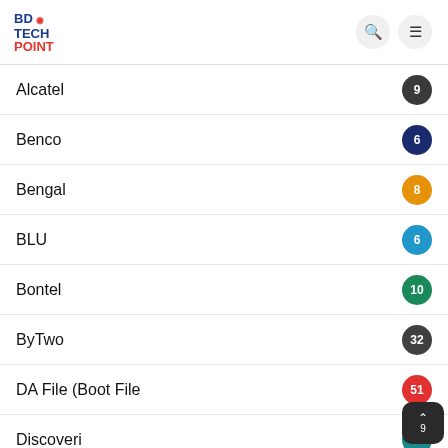BD TECH POINT
Alcatel 9
Benco 6
Bengal 8
BLU 6
Bontel 10
ByTwo 32
DA File (Boot File 51
Discoveri 3
Elite 9